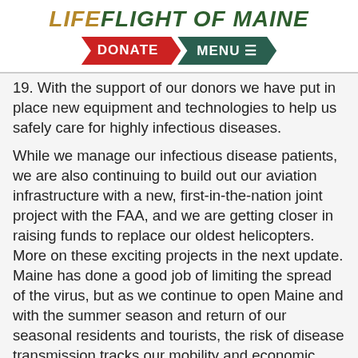LIFEFLIGHT OF MAINE | DONATE | MENU
19. With the support of our donors we have put in place new equipment and technologies to help us safely care for highly infectious diseases.
While we manage our infectious disease patients, we are also continuing to build out our aviation infrastructure with a new, first-in-the-nation joint project with the FAA, and we are getting closer in raising funds to replace our oldest helicopters. More on these exciting projects in the next update. Maine has done a good job of limiting the spread of the virus, but as we continue to open Maine and with the summer season and return of our seasonal residents and tourists, the risk of disease transmission tracks our mobility and economic reset.
The Maine CDC continues to build out testing capacity